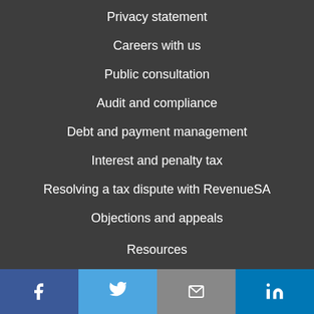Privacy statement
Careers with us
Public consultation
Audit and compliance
Debt and payment management
Interest and penalty tax
Resolving a tax dispute with RevenueSA
Objections and appeals
Resources
Calculators
Customer education
[Figure (infographic): Social media links bar with Facebook, Twitter, Email, and LinkedIn icons]